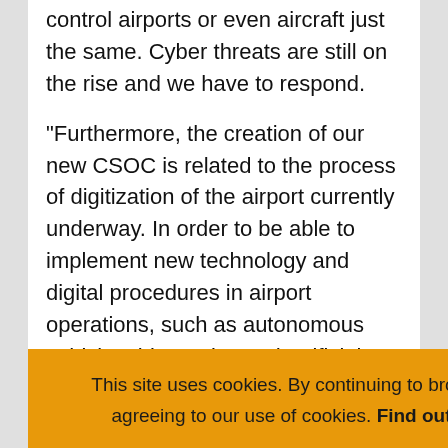control airports or even aircraft just the same. Cyber threats are still on the rise and we have to respond.
“Furthermore, the creation of our new CSOC is related to the process of digitization of the airport currently underway. In order to be able to implement new technology and digital procedures in airport operations, such as autonomous vehicles, biometrics and artificial intelligence, we had to have mechanisms in place to protect them. Companies that fail to solve cybersecurity do not sur[vive. They cannot perform[ance at the required] level a[nd…]
This site uses cookies. By continuing to browse the site you are agreeing to our use of cookies. Find out more here   [X]